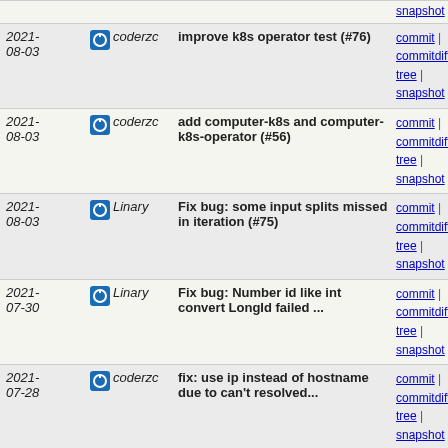| Date | Author | Message | Links |
| --- | --- | --- | --- |
| 2021-08-03 | coderzc | improve k8s operator test (#76) | commit | commitdiff | tree | snapshot |
| 2021-08-03 | coderzc | add computer-k8s and computer-k8s-operator (#56) | commit | commitdiff | tree | snapshot |
| 2021-08-03 | Linary | Fix bug: some input splits missed in iteration (#75) | commit | commitdiff | tree | snapshot |
| 2021-07-30 | Linary | Fix bug: Number id like int convert LongId failed ... | commit | commitdiff | tree | snapshot |
| 2021-07-28 | coderzc | fix: use ip instead of hostname due to can't resolved... | commit | commitdiff | tree | snapshot |
| 2021-07-20 | Linary | Fix bug: judge whether a notice is needed is wrong... | commit | commitdiff | tree | snapshot |
| 2021-07-07 | houzhizhen | add ComputeManager (#66) | commit | commitdiff | tree | snapshot |
| 2021-07-05 | ShouJing | add seqfile (#65) | commit | commitdiff | tree | snapshot |
| 2021-07-05 | imbajin | chore: add issue template & auto stale issues and pr... | commit | commitdiff | tree | snapshot |
| 2021-07-05 | coderzc | fix copyToByteArray(): remove duplicate() (#67) | commit | commitdiff | tree | snapshot |